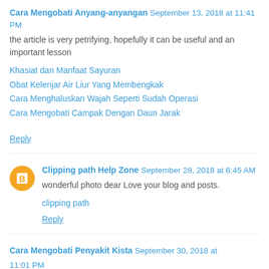Cara Mengobati Anyang-anyangan September 13, 2018 at 11:41 PM
the article is very petrifying, hopefully it can be useful and an important lesson
Khasiat dan Manfaat Sayuran
Obat Kelenjar Air Liur Yang Membengkak
Cara Menghaluskan Wajah Seperti Sudah Operasi
Cara Mengobati Campak Dengan Daun Jarak
Reply
Clipping path Help Zone September 28, 2018 at 6:45 AM
wonderful photo dear Love your blog and posts.
clipping path
Reply
Cara Mengobati Penyakit Kista September 30, 2018 at 11:01 PM